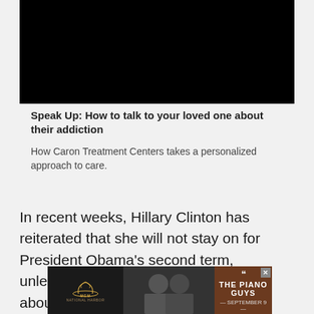[Figure (screenshot): Black video player rectangle]
Speak Up: How to talk to your loved one about their addiction
How Caron Treatment Centers takes a personalized approach to care.
In recent weeks, Hillary Clinton has reiterated that she will not stay on for President Obama’s second term, unleashing fresh waves of speculation about her plans.
[Figure (screenshot): MGM advertisement banner featuring The Piano Guys, September 9]